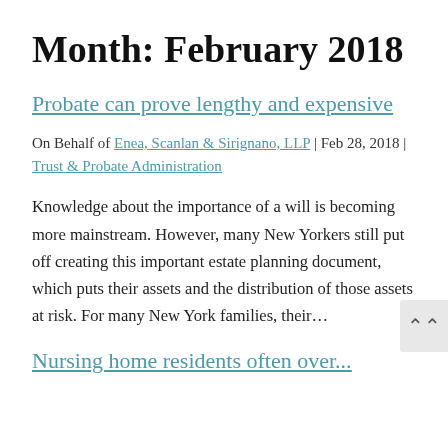Month: February 2018
Probate can prove lengthy and expensive
On Behalf of Enea, Scanlan & Sirignano, LLP | Feb 28, 2018 | Trust & Probate Administration
Knowledge about the importance of a will is becoming more mainstream. However, many New Yorkers still put off creating this important estate planning document, which puts their assets and the distribution of those assets at risk. For many New York families, their…
Nursing home residents often over...